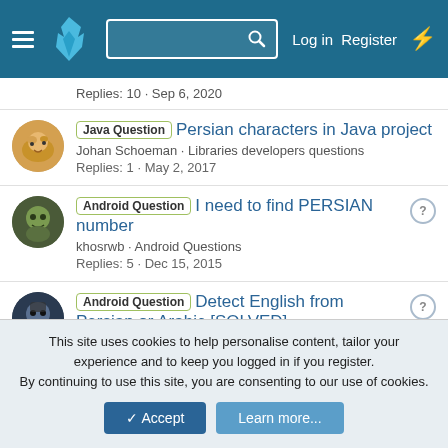Navigation bar with hamburger menu, flame logo, search box, Log in, Register, bolt icon
Replies: 10 · Sep 6, 2020
Java Question | Persian characters in Java project
Johan Schoeman · Libraries developers questions
Replies: 1 · May 2, 2017
Android Question | I need to find PERSIAN number
khosrwb · Android Questions
Replies: 5 · Dec 15, 2015
Android Question | Detect English from Persian or Arabic [SOLVED]
marab · Android Questions
Replies: 9 · Apr 22, 2015
This site uses cookies to help personalise content, tailor your experience and to keep you logged in if you register.
By continuing to use this site, you are consenting to our use of cookies.
Accept  Learn more...